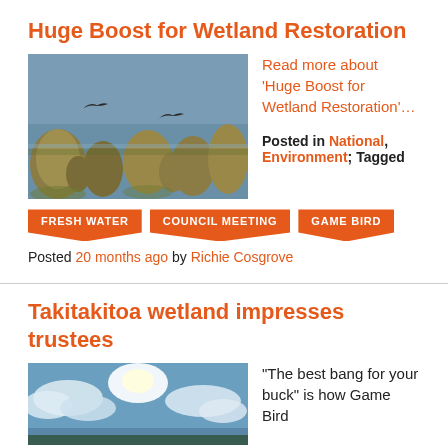Huge Boost for Wetland Restoration
[Figure (photo): Wetland scene with birds flying over water and grass tussocks]
Read more about 'Huge Boost for Wetland Restoration'...
Posted in National, Environment; Tagged
FRESH WATER
COUNCIL MEETING
GAME BIRD
Posted 20 months ago by Richie Cosgrove
Takitakitoa wetland impresses trustees
[Figure (photo): Sky with clouds and sunlight]
“The best bang for your buck” is how Game Bird